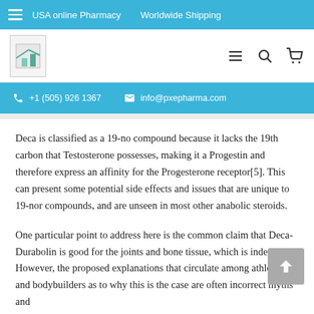USA online Pharmacy   Worldwide Shipping
[Figure (logo): Website logo placeholder image in top-left of navigation bar]
+1 (505) 926 1367   info@pxepharma.com
Deca is classified as a 19-no compound because it lacks the 19th carbon that Testosterone possesses, making it a Progestin and therefore express an affinity for the Progesterone receptor[5]. This can present some potential side effects and issues that are unique to 19-nor compounds, and are unseen in most other anabolic steroids.
One particular point to address here is the common claim that Deca-Durabolin is good for the joints and bone tissue, which is indeed true. However, the proposed explanations that circulate among athletes and bodybuilders as to why this is the case are often incorrect myths and...